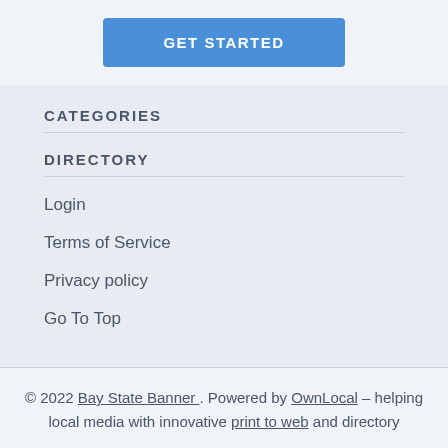[Figure (other): Blue 'GET STARTED' button]
CATEGORIES
DIRECTORY
Login
Terms of Service
Privacy policy
Go To Top
© 2022 Bay State Banner . Powered by OwnLocal – helping local media with innovative print to web and directory